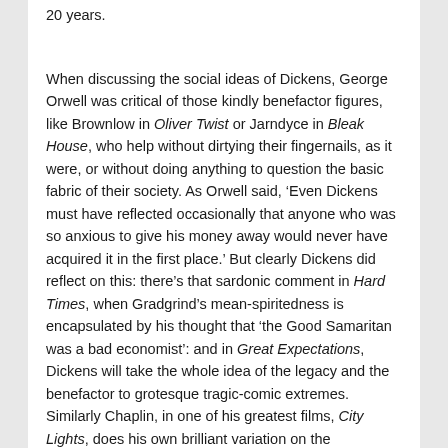20 years.
When discussing the social ideas of Dickens, George Orwell was critical of those kindly benefactor figures, like Brownlow in Oliver Twist or Jarndyce in Bleak House, who help without dirtying their fingernails, as it were, or without doing anything to question the basic fabric of their society. As Orwell said, ‘Even Dickens must have reflected occasionally that anyone who was so anxious to give his money away would never have acquired it in the first place.’ But clearly Dickens did reflect on this: there’s that sardonic comment in Hard Times, when Gradgrind’s mean-spiritedness is encapsulated by his thought that ‘the Good Samaritan was a bad economist’: and in Great Expectations, Dickens will take the whole idea of the legacy and the benefactor to grotesque tragic-comic extremes. Similarly Chaplin, in one of his greatest films, City Lights, does his own brilliant variation on the benefactor theme when the Tramp, who has rescued a millionaire from drowning and is showered with money by the man when he’s drunk but treated with contempt when